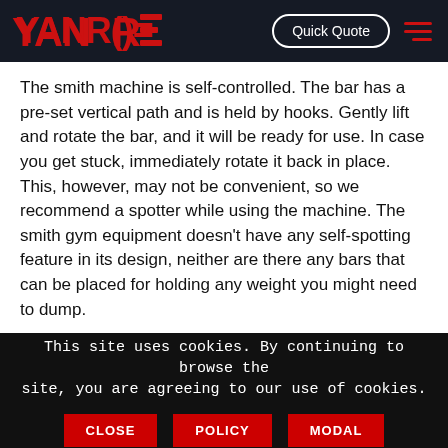YANRE | Quick Quote
The smith machine is self-controlled. The bar has a pre-set vertical path and is held by hooks. Gently lift and rotate the bar, and it will be ready for use. In case you get stuck, immediately rotate it back in place. This, however, may not be convenient, so we recommend a spotter while using the machine. The smith gym equipment doesn't have any self-spotting feature in its design, neither are there any bars that can be placed for holding any weight you might need to dump.
This site uses cookies. By continuing to browse the site, you are agreeing to our use of cookies. CLOSE | POLICY | MODAL